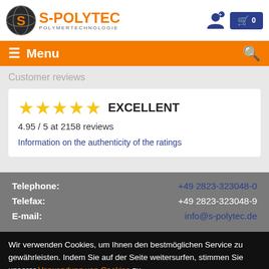S-POLYTEC POLYMERTECHNOLOGIE
Customer reviews
★★★★★ EXCELLENT
4.95 / 5 at 2158 reviews
Information on the authenticity of the ratings
Telephone: +49 2823-323048-0
Telefax: +49 2823-323048-9
E-mail: info@s-polytec.de
Wir verwenden Cookies, um Ihnen den bestmöglichen Service zu gewährleisten. Indem Sie auf der Seite weitersurfen, stimmen Sie unserer Verwendung von Cookies zu.
OKAY